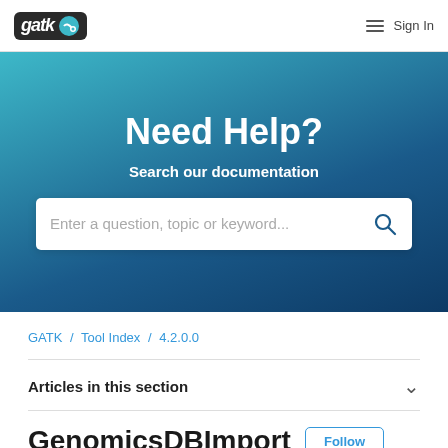gatk [logo] / Sign in
Need Help?
Search our documentation
Enter a question, topic or keyword...
GATK / Tool Index / 4.2.0.0
Articles in this section
GenomicsDBImport
Follow